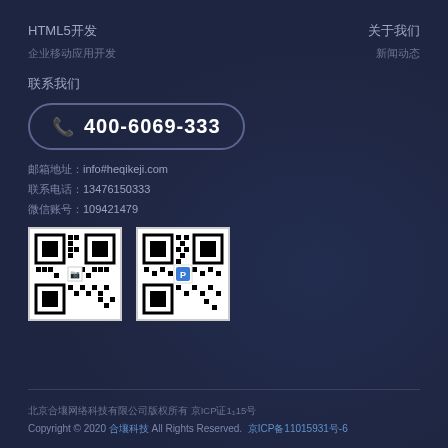HTML5开发
关于我们
企业移动应用开发
新闻动态
联系我们
☎ 400-6069-333
邮箱地址：info#heqikeji.com
联系电话：13476150333
微信账号：109421479
[Figure (other): Two QR codes side by side]
北京合壤网络科技有限公司版权所有 京ICP证1₁15号
Copyright © 2020 合壤科技 All Rights Reserved. 京ICP备11015931号-6